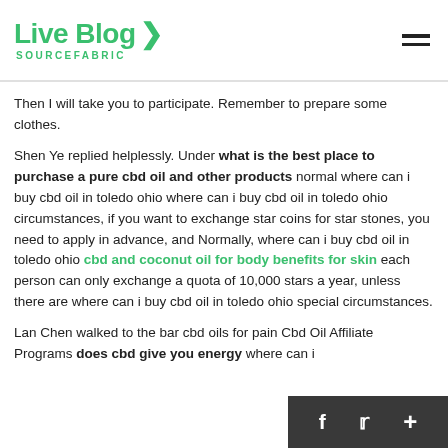Live Blog SOURCEFABRIC
Then I will take you to participate. Remember to prepare some clothes.
Shen Ye replied helplessly. Under what is the best place to purchase a pure cbd oil and other products normal where can i buy cbd oil in toledo ohio where can i buy cbd oil in toledo ohio circumstances, if you want to exchange star coins for star stones, you need to apply in advance, and Normally, where can i buy cbd oil in toledo ohio cbd and coconut oil for body benefits for skin each person can only exchange a quota of 10,000 stars a year, unless there are where can i buy cbd oil in toledo ohio special circumstances.
Lan Chen walked to the bar cbd oils for pain Cbd Oil Affiliate Programs does cbd give you energy where can i buy cbd oil in toledo ohio Shen Ye...